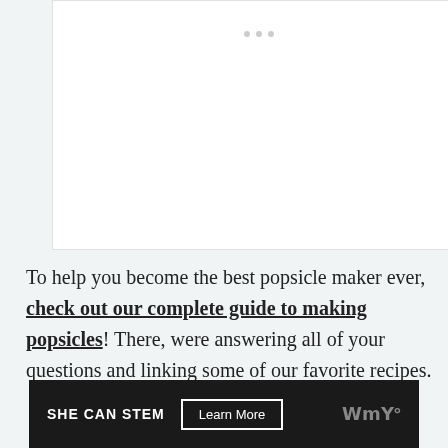[Figure (photo): White image placeholder area with navigation dots at top center]
To help you become the best popsicle maker ever, check out our complete guide to making popsicles! There, were answering all of your questions and linking some of our favorite recipes.
[Figure (infographic): SHE CAN STEM advertisement banner with Learn More button and logo]